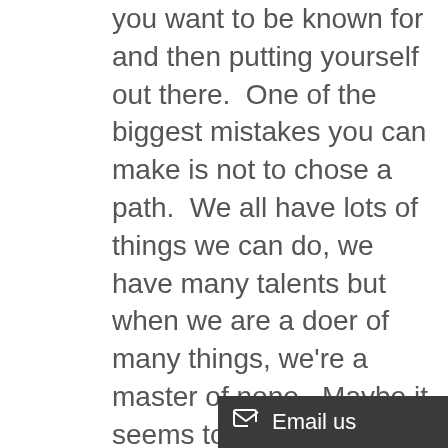you want to be known for and then putting yourself out there.  One of the biggest mistakes you can make is not to chose a path.  We all have lots of things we can do, we have many talents but when we are a doer of many things, we're a master of none.  Maybe it seems too risky to commit to one thing and let the others go – after all you may lose out on a sale.

Maybe your fear is picking up the phone and doing the follow up. Let me tell you that I have seen many brilliant business owners go out of business because they wouldn't do the follow u
[Figure (other): Email us chat widget button in dark grey bar at bottom right]